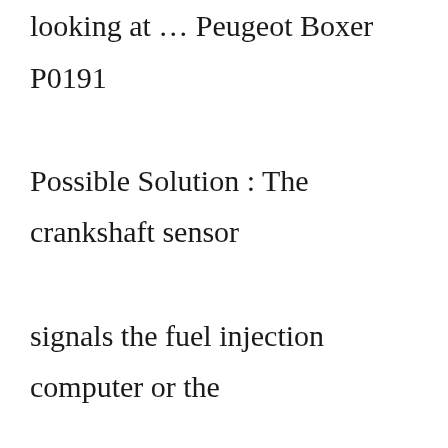looking at … Peugeot Boxer P0191 Possible Solution : The crankshaft sensor signals the fuel injection computer or the ignition control when the cylinders are firing This is a generic code, which indicates that it has the same meaning for the Chevy Tahoe as it would any other vehicle The electrical resistance of a strain gauge increases as pressure increases, and the resistance decreases as the pressure decreases Depending on year, make, and